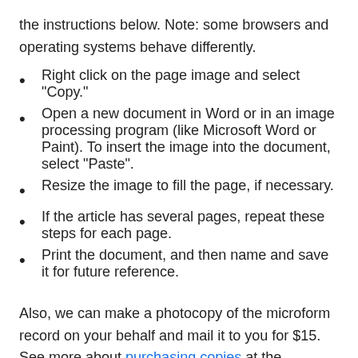the instructions below. Note: some browsers and operating systems behave differently.
Right click on the page image and select "Copy."
Open a new document in Word or in an image processing program (like Microsoft Word or Paint). To insert the image into the document, select "Paste".
Resize the image to fill the page, if necessary.
If the article has several pages, repeat these steps for each page.
Print the document, and then name and save it for future reference.
Also, we can make a photocopy of the microform record on your behalf and mail it to you for $15.
See more about purchasing copies at the